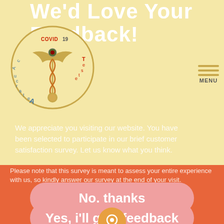We'd Love Your Feedback!
[Figure (logo): Accurate COVID 19 Test circular logo with caduceus/medical symbol in gold, red and teal text]
[Figure (infographic): Hamburger menu icon with three orange horizontal lines and MENU label]
We appreciate you visiting our website. You have been selected to participate in our brief customer satisfaction survey. Let us know what you think.
Please note that this survey is meant to assess your entire experience with us, so kindly answer our survey at the end of your visit.
FightCOVID@AccurateCOVID19Test.com
Like, Comment, or Share
[Figure (infographic): Social media icons: Facebook (blue circle), Twitter (teal circle), Instagram (pinkish circle)]
No, thanks
Yes, i'll give feedback